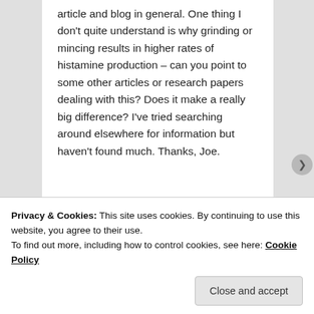article and blog in general. One thing I don’t quite understand is why grinding or mincing results in higher rates of histamine production – can you point to some other articles or research papers dealing with this? Does it make a really big difference? I’ve tried searching around elsewhere for information but haven’t found much. Thanks, Joe.
★ Like
Privacy & Cookies: This site uses cookies. By continuing to use this website, you agree to their use.
To find out more, including how to control cookies, see here: Cookie Policy